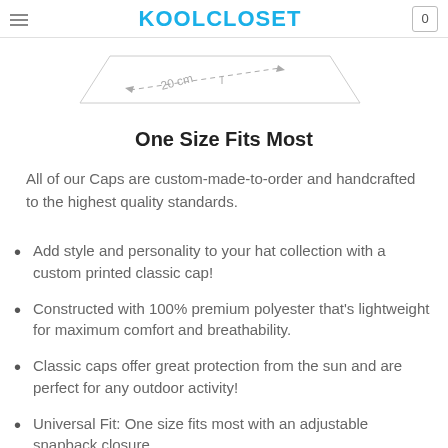KOOLCLOSET
[Figure (schematic): Line diagram showing cap dimensions with dashed lines and '20 cm' label]
One Size Fits Most
All of our Caps are custom-made-to-order and handcrafted to the highest quality standards.
Add style and personality to your hat collection with a custom printed classic cap!
Constructed with 100% premium polyester that's lightweight for maximum comfort and breathability.
Classic caps offer great protection from the sun and are perfect for any outdoor activity!
Universal Fit: One size fits most with an adjustable snapback closure.